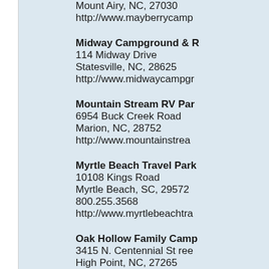Mount Airy, NC, 27030
http://www.mayberrycamp
Midway Campground &
114 Midway Drive
Statesville, NC, 28625
http://www.midwaycampgr
Mountain Stream RV Par
6954 Buck Creek Road
Marion, NC, 28752
http://www.mountainstrea
Myrtle Beach Travel Park
10108 Kings Road
Myrtle Beach, SC, 29572
800.255.3568
http://www.myrtlebeachtra
Oak Hollow Family Camp
3415 N. Centennial St ree
High Point, NC, 27265